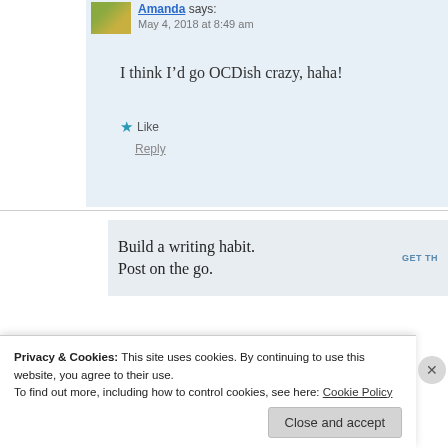Amanda says: May 4, 2018 at 8:49 am
I think I’d go OCDish crazy, haha!
★ Like
Reply
Build a writing habit. Post on the go.
GET TH…
Michelle says:
Privacy & Cookies: This site uses cookies. By continuing to use this website, you agree to their use.
To find out more, including how to control cookies, see here: Cookie Policy
Close and accept